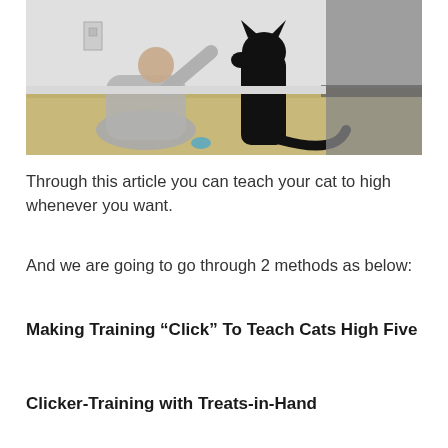[Figure (photo): A person sitting cross-legged on a hardwood floor giving a high five to a black cat, with a bed frame visible on the right side of the image.]
Through this article you can teach your cat to high whenever you want.
And we are going to go through 2 methods as below:
Making Training “Click” To Teach Cats High Five
Clicker-Training with Treats-in-Hand